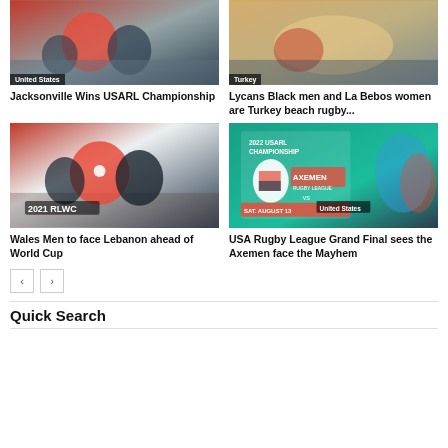[Figure (photo): Rugby match photo with United States badge overlay at bottom left]
Jacksonville Wins USARL Championship
[Figure (photo): Beach rugby photo with Turkey badge overlay at bottom left]
Lycans Black men and La Bebos women are Turkey beach rugby...
[Figure (photo): Rugby league match, Wales vs Lebanon, 2021 RLWC badge]
Wales Men to face Lebanon ahead of World Cup
[Figure (photo): 2022 USARL Championship promotional poster, Axemen vs Mayhem, Sat August 13, Jacksonville FL, 7:30PM Kick Off, United States badge]
USA Rugby League Grand Final sees the Axemen face the Mayhem
< >
Quick Search